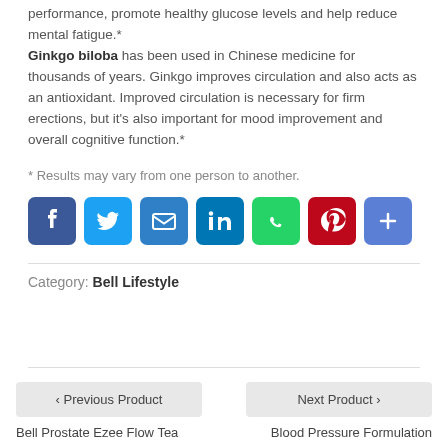performance, promote healthy glucose levels and help reduce mental fatigue.* Ginkgo biloba has been used in Chinese medicine for thousands of years. Ginkgo improves circulation and also acts as an antioxidant. Improved circulation is necessary for firm erections, but it's also important for mood improvement and overall cognitive function.*
* Results may vary from one person to another.
[Figure (infographic): Row of social sharing icons: Facebook (blue), Twitter (light blue), Email (blue), LinkedIn (dark blue), WhatsApp (green), Pinterest (red), More/Share (blue)]
Category: Bell Lifestyle
← Previous Product
Next Product →
Bell Prostate Ezee Flow Tea
Blood Pressure Formulation